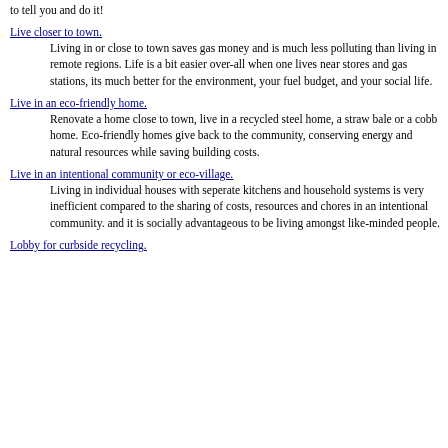to tell you and do it!
Live closer to town.
Living in or close to town saves gas money and is much less polluting than living in remote regions. Life is a bit easier over-all when one lives near stores and gas stations, its much better for the environment, your fuel budget, and your social life.
Live in an eco-friendly home.
Renovate a home close to town, live in a recycled steel home, a straw bale or a cobb home. Eco-friendly homes give back to the community, conserving energy and natural resources while saving building costs.
Live in an intentional community or eco-village.
Living in individual houses with seperate kitchens and household systems is very inefficient compared to the sharing of costs, resources and chores in an intentional community. and it is socially advantageous to be living amongst like-minded people.
Lobby for curbside recycling.